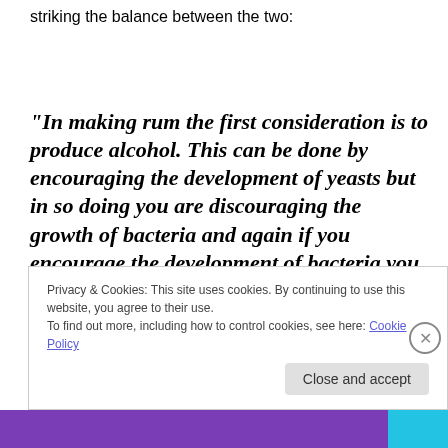striking the balance between the two:
“In making rum the first consideration is to produce alcohol. This can be done by encouraging the development of yeasts but in so doing you are discouraging the growth of bacteria and again if you encourage the development of bacteria you are setting up conditions which are against the interests
Privacy & Cookies: This site uses cookies. By continuing to use this website, you agree to their use.
To find out more, including how to control cookies, see here: Cookie Policy
Close and accept